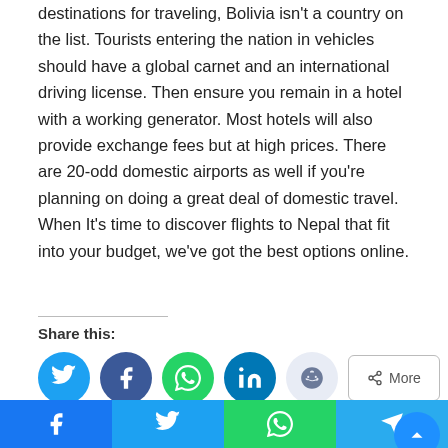destinations for traveling, Bolivia isn't a country on the list. Tourists entering the nation in vehicles should have a global carnet and an international driving license. Then ensure you remain in a hotel with a working generator. Most hotels will also provide exchange fees but at high prices. There are 20-odd domestic airports as well if you're planning on doing a great deal of domestic travel. When It's time to discover flights to Nepal that fit into your budget, we've got the best options online.
Share this:
[Figure (infographic): Social share buttons: Twitter (blue), Facebook (dark blue), WhatsApp (green), LinkedIn (blue), Reddit (light blue), More (outlined button)]
#nepal  #nepal tourism  #nepal travel
[Figure (infographic): Bottom navigation bar with Facebook, Twitter, WhatsApp, and Telegram icons]